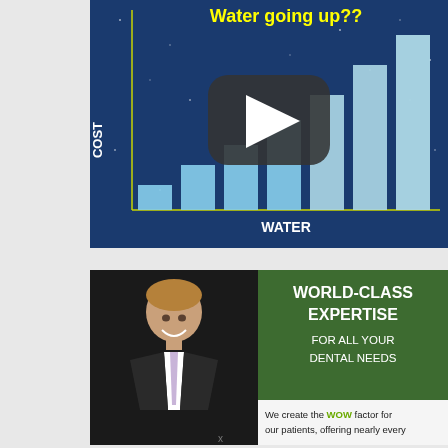[Figure (bar-chart): Bar chart with blue bars on a dark blue starry background showing rising water cost, with a YouTube play button overlay. Title in yellow reads 'Water going up??' and x-axis label reads 'WATER', y-axis label reads 'COST'.]
[Figure (photo): Advertisement featuring a man in a suit with a dental practice ad. Green panel reads 'WORLD-CLASS EXPERTISE FOR ALL YOUR DENTAL NEEDS'. Below reads 'We create the WOW factor for our patients, offering nearly every...']
x